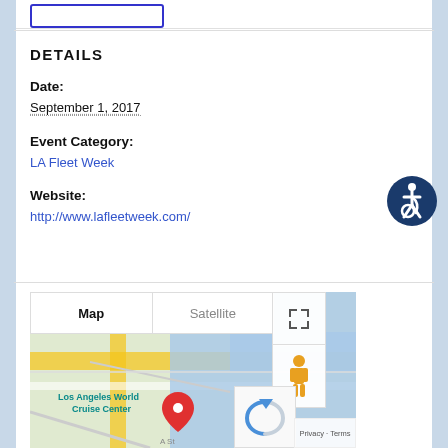DETAILS
Date:
September 1, 2017
Event Category:
LA Fleet Week
Website:
http://www.lafleetweek.com/
[Figure (map): Google Map showing Los Angeles World Cruise Center with a red location pin, Map/Satellite toggle buttons, street view and expand controls, and Privacy/Terms overlay.]